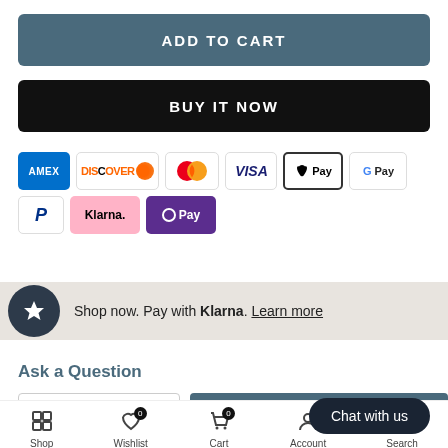ADD TO CART
BUY IT NOW
[Figure (other): Payment method icons: Amex, Discover, Mastercard, Visa, Apple Pay, Google Pay, PayPal, Klarna, OPay]
Shop now. Pay with Klarna. Learn more
Ask a Question
- 1 + ADD TO CART
Chat with us
Shop Wishlist 0 Cart 0 Account Search